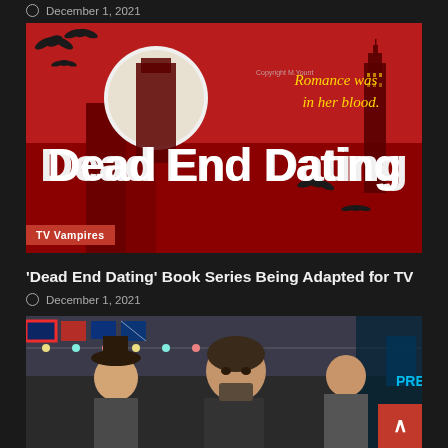December 1, 2021
[Figure (illustration): Book cover for 'Dead End Dating' with red background, bats, moon, Gothic font title, tagline 'Romance was in her blood.' and a 'TV Vampires' tag label]
'Dead End Dating' Book Series Being Adapted for TV
December 1, 2021
[Figure (photo): Nicolas Cage and other actors in an action scene with colorful flags and neon lights in the background]